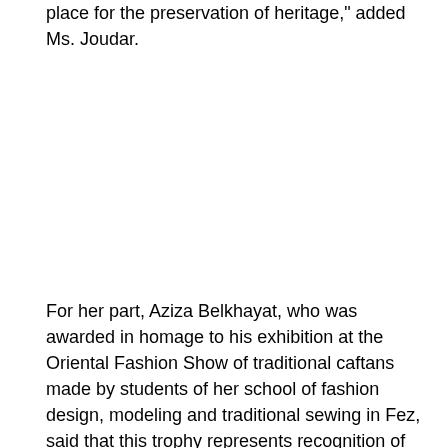place for the preservation of heritage," added Ms. Joudar.
For her part, Aziza Belkhayat, who was awarded in homage to his exhibition at the Oriental Fashion Show of traditional caftans made by students of her school of fashion design, modeling and traditional sewing in Fez, said that this trophy represents recognition of her more than thirty years of service to traditional Moroccan fashion.